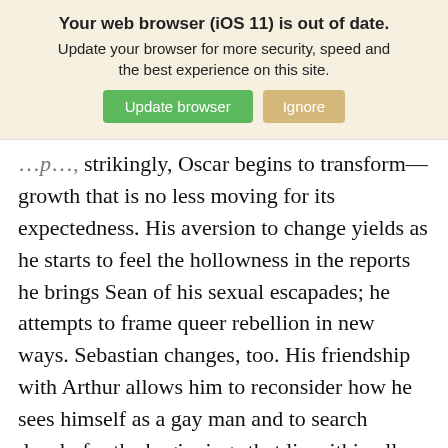[Figure (screenshot): Browser out-of-date warning banner with 'Update browser' (green) and 'Ignore' (tan) buttons on a cream background]
strikingly, Oscar begins to transform—growth that is no less moving for its expectedness. His aversion to change yields as he starts to feel the hollowness in the reports he brings Sean of his sexual escapades; he attempts to frame queer rebellion in new ways. Sebastian changes, too. His friendship with Arthur allows him to reconsider how he sees himself as a gay man and to search deeply for the beginnings that lie within all endings.